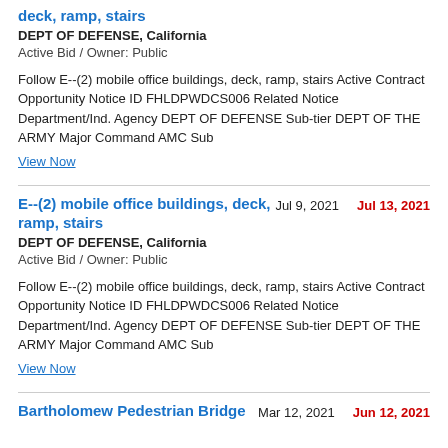deck, ramp, stairs
DEPT OF DEFENSE, California
Active Bid / Owner: Public
Follow E--(2) mobile office buildings, deck, ramp, stairs Active Contract Opportunity Notice ID FHLDPWDCS006 Related Notice Department/Ind. Agency DEPT OF DEFENSE Sub-tier DEPT OF THE ARMY Major Command AMC Sub
View Now
E--(2) mobile office buildings, deck, ramp, stairs
Jul 9, 2021
Jul 13, 2021
DEPT OF DEFENSE, California
Active Bid / Owner: Public
Follow E--(2) mobile office buildings, deck, ramp, stairs Active Contract Opportunity Notice ID FHLDPWDCS006 Related Notice Department/Ind. Agency DEPT OF DEFENSE Sub-tier DEPT OF THE ARMY Major Command AMC Sub
View Now
Bartholomew Pedestrian Bridge
Mar 12, 2021
Jun 12, 2021